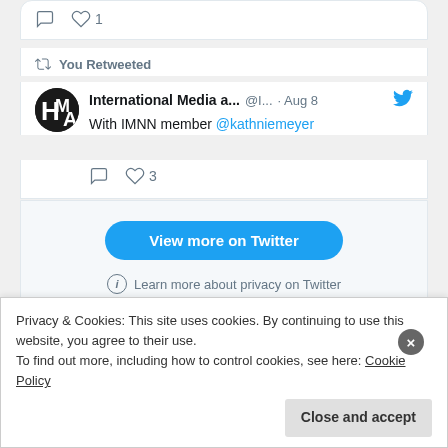♡ 1
You Retweeted
International Media a... @I... · Aug 8
With IMNN member @kathniemeyer
♡ 3
View more on Twitter
ⓘ Learn more about privacy on Twitter
Categories
Privacy & Cookies: This site uses cookies. By continuing to use this website, you agree to their use.
To find out more, including how to control cookies, see here: Cookie Policy
Close and accept